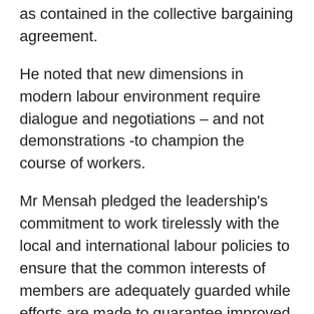as contained in the collective bargaining agreement.
He noted that new dimensions in modern labour environment require dialogue and negotiations – and not demonstrations -to champion the course of workers.
Mr Mensah pledged the leadership's commitment to work tirelessly with the local and international labour policies to ensure that the common interests of members are adequately guarded while efforts are made to guarantee improved working conditions.
Mr Debrah Gyamfi, National Chairman of PSWU